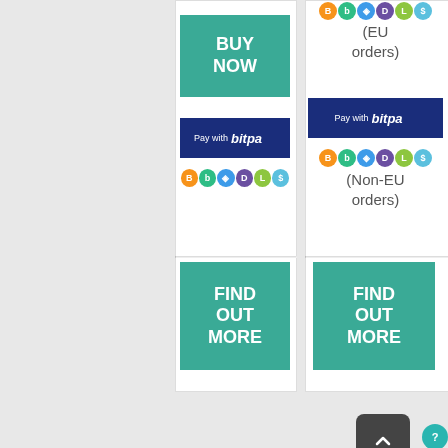[Figure (screenshot): E-commerce product page screenshot showing two product columns, each with buy/payment buttons and find out more buttons. Left column has BUY NOW teal button, BitPay payment button, and crypto currency icons. Right column shows crypto icons, (EU orders) text, BitPay button, crypto icons, (Non-EU orders) text. Both columns have FIND OUT MORE teal buttons. A back-to-top arrow button and help circle button appear at the bottom.]